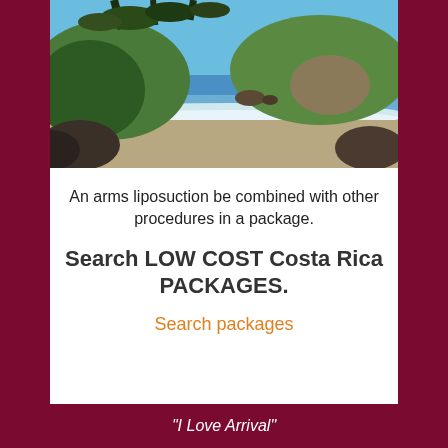[Figure (photo): Tropical beach scene with rocky coastline, ocean waves, and lush green hills under a blue sky, with tree branches in the upper portion.]
An arms liposuction be combined with other procedures in a package.
Search LOW COST Costa Rica PACKAGES.
Search packages
“I Love Arrival”